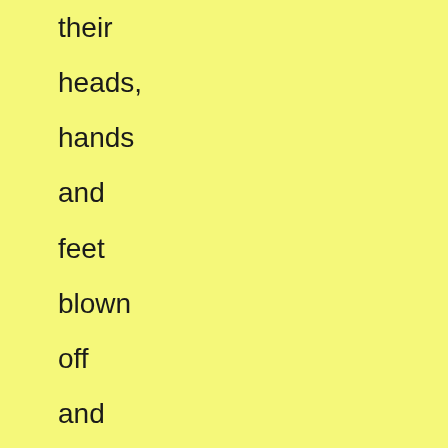their heads, hands and feet blown off and scattered, typical effects of an explosive blast. Eye-witnesses at the time